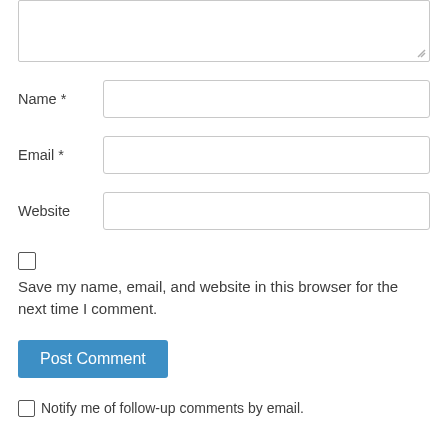[Figure (screenshot): Partial textarea input box (top portion visible, cut off at top of page)]
Name *
[Figure (screenshot): Text input field for Name]
Email *
[Figure (screenshot): Text input field for Email]
Website
[Figure (screenshot): Text input field for Website]
Save my name, email, and website in this browser for the next time I comment.
Post Comment
Notify me of follow-up comments by email.